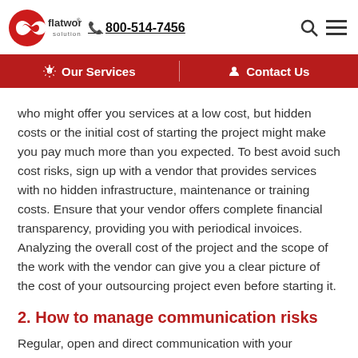flatworld solutions | 800-514-7456
Our Services | Contact Us
who might offer you services at a low cost, but hidden costs or the initial cost of starting the project might make you pay much more than you expected. To best avoid such cost risks, sign up with a vendor that provides services with no hidden infrastructure, maintenance or training costs. Ensure that your vendor offers complete financial transparency, providing you with periodical invoices. Analyzing the overall cost of the project and the scope of the work with the vendor can give you a clear picture of the cost of your outsourcing project even before starting it.
2. How to manage communication risks
Regular, open and direct communication with your